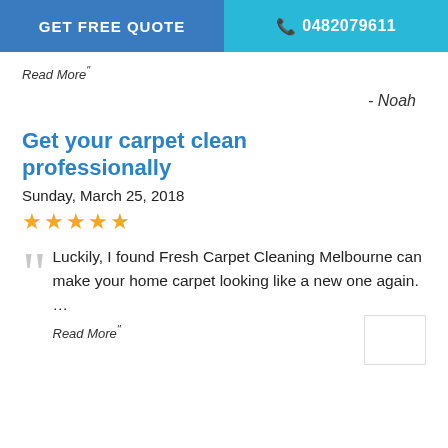GET FREE QUOTE   📞 0482079611
Read More"
- Noah
Get your carpet clean professionally
Sunday, March 25, 2018
★★★★★
Luckily, I found Fresh Carpet Cleaning Melbourne can make your home carpet looking like a new one again. …
Read More"
- Isla